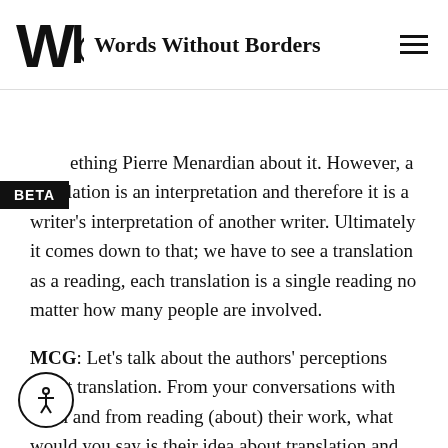Words Without Borders
something Pierre Menardian about it. However, a translation is an interpretation and therefore it is a writer's interpretation of another writer. Ultimately it comes down to that; we have to see a translation as a reading, each translation is a single reading no matter how many people are involved.
MCG: Let's talk about the authors' perceptions about translation. From your conversations with them and from reading (about) their work, what would you say is their idea about translation and translators? How did translation appear in their writings? How did they perceive their work in